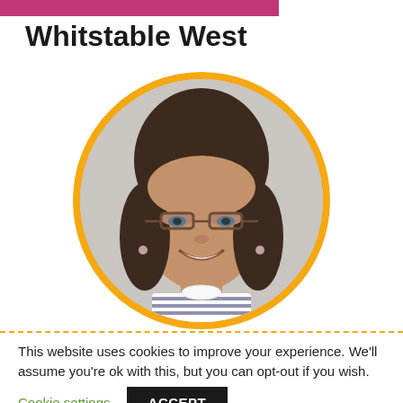Whitstable West
[Figure (photo): Circular portrait photo of a middle-aged woman with shoulder-length dark brown hair, wearing glasses and a striped top, smiling. The photo is framed with an orange circular border.]
This website uses cookies to improve your experience. We'll assume you're ok with this, but you can opt-out if you wish.
Cookie settings
ACCEPT